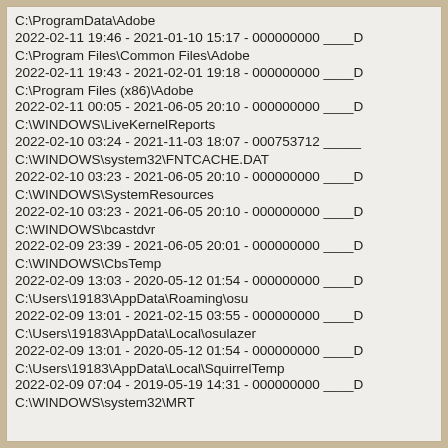C:\ProgramData\Adobe
2022-02-11 19:46 - 2021-01-10 15:17 - 000000000 ____D
C:\Program Files\Common Files\Adobe
2022-02-11 19:43 - 2021-02-01 19:18 - 000000000 ____D
C:\Program Files (x86)\Adobe
2022-02-11 00:05 - 2021-06-05 20:10 - 000000000 ____D
C:\WINDOWS\LiveKernelReports
2022-02-10 03:24 - 2021-11-03 18:07 - 000753712 _____
C:\WINDOWS\system32\FNTCACHE.DAT
2022-02-10 03:23 - 2021-06-05 20:10 - 000000000 ____D
C:\WINDOWS\SystemResources
2022-02-10 03:23 - 2021-06-05 20:10 - 000000000 ____D
C:\WINDOWS\bcastdvr
2022-02-09 23:39 - 2021-06-05 20:01 - 000000000 ____D
C:\WINDOWS\CbsTemp
2022-02-09 13:03 - 2020-05-12 01:54 - 000000000 ____D
C:\Users\19183\AppData\Roaming\osu
2022-02-09 13:01 - 2021-02-15 03:55 - 000000000 ____D
C:\Users\19183\AppData\Local\osulazer
2022-02-09 13:01 - 2020-05-12 01:54 - 000000000 ____D
C:\Users\19183\AppData\Local\SquirrelTemp
2022-02-09 07:04 - 2019-05-19 14:31 - 000000000 ____D
C:\WINDOWS\system32\MRT